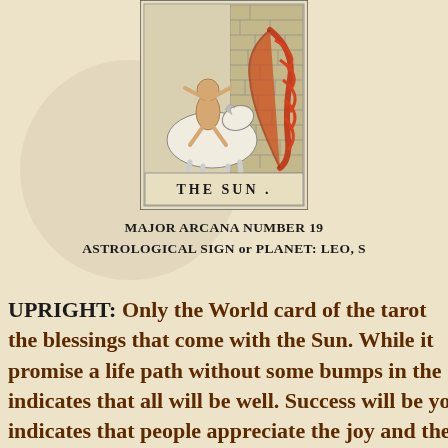[Figure (illustration): Tarot card illustration of The Sun (Major Arcana Number 19): a child riding a white horse, with decorative red serpent/feather, brick wall background. Caption reads 'THE SUN .' at the bottom of the card.]
MAJOR ARCANA NUMBER 19
ASTROLOGICAL SIGN or PLANET: LEO, S
UPRIGHT: Only the World card of the tarot the blessings that come with the Sun. While it promise a life path without some bumps in the indicates that all will be well. Success will be yo indicates that people appreciate the joy and the bring to their lives. At this time you are feeling achieving your goals is apparent. The Sun is ou The Sun card may be bringing you the news y waiting for that the darkest hours are over. Thi outlook. You may even find yourself tru di